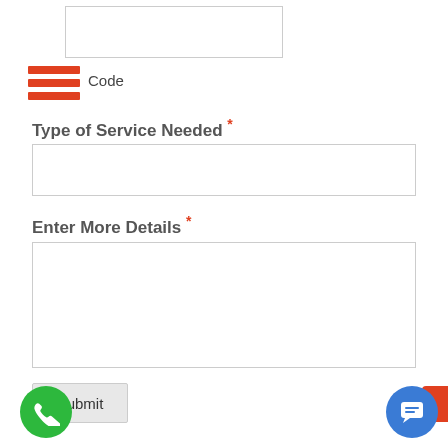[Figure (screenshot): Web form screenshot showing a zip code input field at the top with a hamburger menu icon and 'Code' label, followed by 'Type of Service Needed' field with required asterisk, 'Enter More Details' textarea with required asterisk, a Submit button, a green phone call button at bottom left, and a blue chat button at bottom right with a partial orange element.]